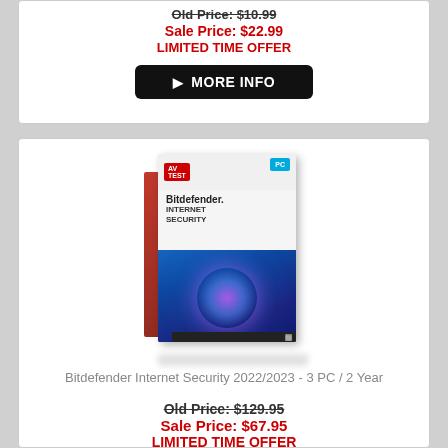Old Price: $10.99
Sale Price: $22.99
LIMITED TIME OFFER
[Figure (other): MORE INFO button - black rounded rectangle with play arrow icon and text MORE INFO]
[Figure (photo): Bitdefender Internet Security 2022/2023 software box - white and blue box with 3D perspective, showing brand logo and cosmic/digital imagery]
Bitdefender Internet Security 2022/2023 - 3 PC / 2 Year
Old Price: $129.95
Sale Price: $67.95
LIMITED TIME OFFER